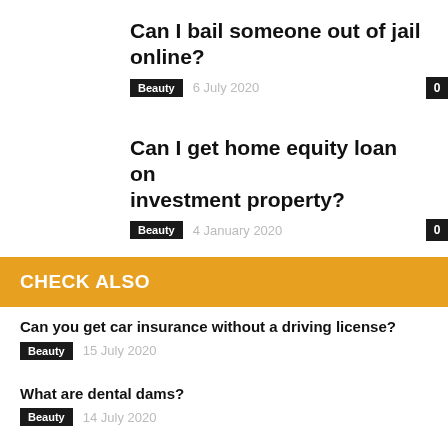Can I bail someone out of jail online?
Beauty   6 July 2020   0
Can I get home equity loan on investment property?
Beauty   4 January 2020   0
CHECK ALSO
Can you get car insurance without a driving license?
Beauty   15 July 2020
What are dental dams?
Beauty   14 July 2020